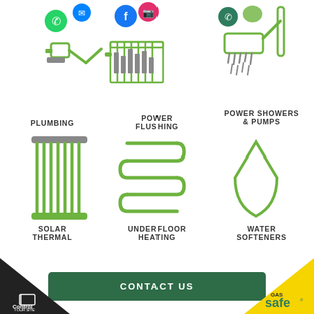[Figure (infographic): Six service icons in two rows: Plumbing, Power Flushing, Power Showers & Pumps, Solar Thermal, Underfloor Heating, Water Softeners]
PLUMBING
POWER FLUSHING
POWER SHOWERS & PUMPS
SOLAR THERMAL
UNDERFLOOR HEATING
WATER SOFTENERS
CONTACT US
[Figure (logo): Control Your Site logo in black triangle bottom left]
[Figure (logo): Gas Safe logo in yellow triangle bottom right]